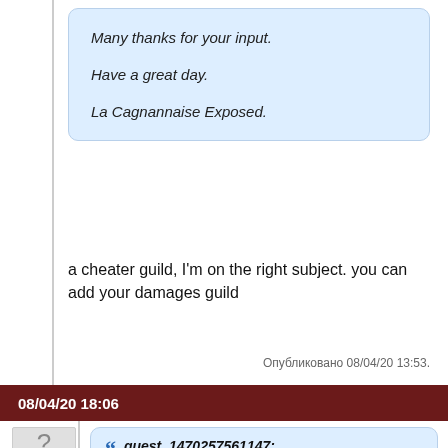Many thanks for your input.

Have a great day.

La Cagnannaise Exposed.
a cheater guild, I'm on the right subject. you can add your damages guild
Опубликовано 08/04/20 13:53.
08/04/20 18:06
La Cagnanna Expos... Участник
guest_1470257561147:
La Cagnannaise